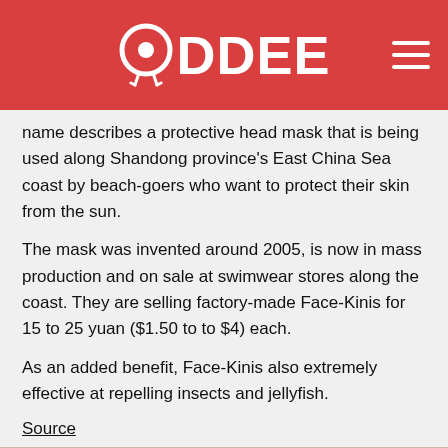ODDEE
name describes a protective head mask that is being used along Shandong province's East China Sea coast by beach-goers who want to protect their skin from the sun.
The mask was invented around 2005, is now in mass production and on sale at swimwear stores along the coast. They are selling factory-made Face-Kinis for 15 to 25 yuan ($1.50 to to $4) each.
As an added benefit, Face-Kinis also extremely effective at repelling insects and jellyfish.
Source
[Figure (photo): Crowd of people, partially visible at bottom of page]